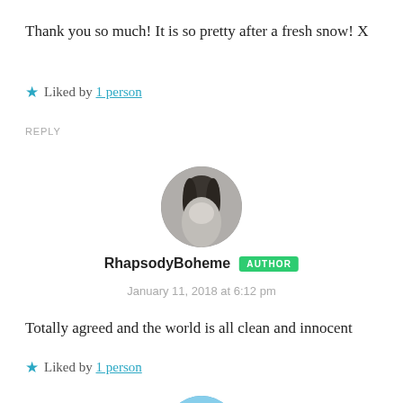Thank you so much! It is so pretty after a fresh snow! X
★ Liked by 1 person
REPLY
[Figure (photo): Circular profile photo of a person in black and white]
RhapsodyBoheme AUTHOR
January 11, 2018 at 6:12 pm
Totally agreed and the world is all clean and innocent
★ Liked by 1 person
[Figure (photo): Circular profile photo of a person, partially visible at bottom of page]